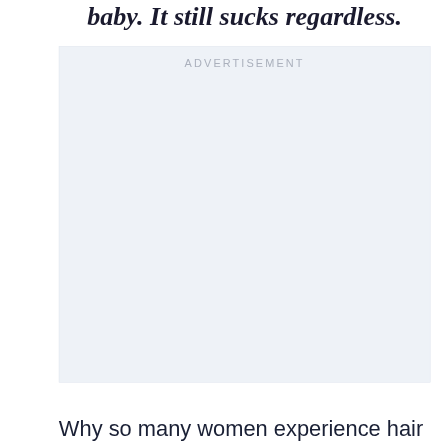baby. It still sucks regardless.
[Figure (other): Advertisement placeholder box with light blue-grey background and 'ADVERTISEMENT' label at top center]
Why so many women experience hair loss is a very complicated question. What may be the reason why one woman will, there will be a totally different